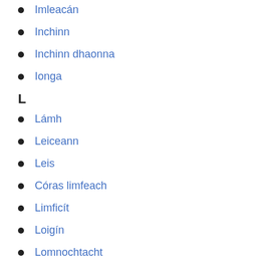Imleacán
Inchinn
Inchinn dhaonna
Ionga
L
Lámh
Leiceann
Leis
Córas limfeach
Limficít
Loigín
Lomnochtacht
M